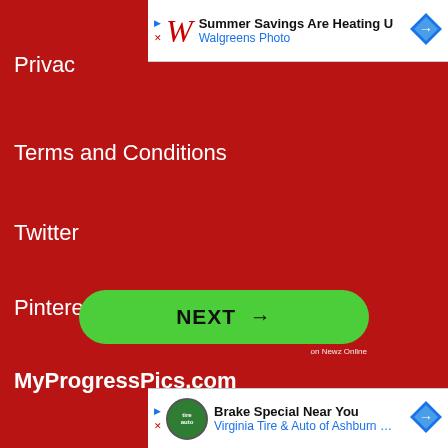[Figure (screenshot): Walgreens Photo advertisement banner: Summer Savings Are Heating U, Walgreens Photo]
Privac
Terms and Conditions
Twitter
Pinterest
MyProgressPics.com
[Figure (other): NEXT button with arrow, green rounded rectangle, on Newz Online label]
[Figure (screenshot): Virginia Tire & Auto of Ashburn advertisement: Brake Special Near You]